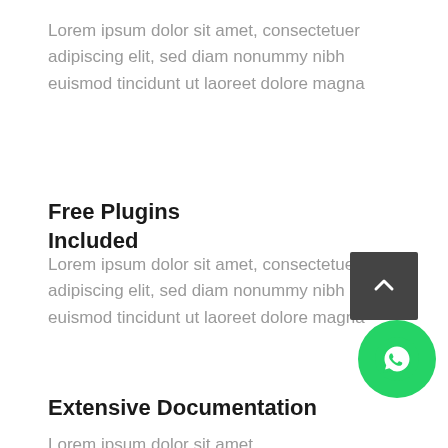Lorem ipsum dolor sit amet, consectetuer adipiscing elit, sed diam nonummy nibh euismod tincidunt ut laoreet dolore magna
Free Plugins Included
Lorem ipsum dolor sit amet, consectetuer adipiscing elit, sed diam nonummy nibh euismod tincidunt ut laoreet dolore magna
Extensive Documentation
Lorem ipsum dolor sit amet,